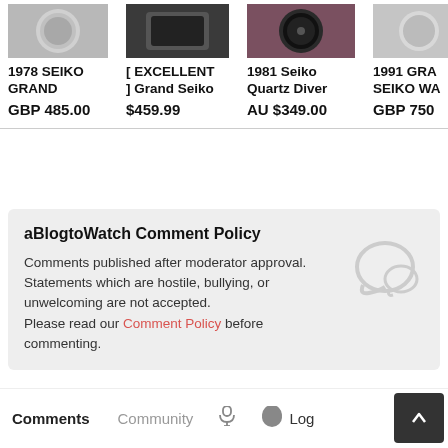[Figure (photo): Partial product listing row showing 4 watch items with thumbnails and prices]
1978 SEIKO GRAND
GBP 485.00
[ EXCELLENT ] Grand Seiko
$459.99
1981 Seiko Quartz Diver
AU $349.00
1991 GRA SEIKO WA
GBP 750
aBlogtoWatch Comment Policy
Comments published after moderator approval. Statements which are hostile, bullying, or unwelcoming are not accepted. Please read our Comment Policy before commenting.
Comments
Community
Log